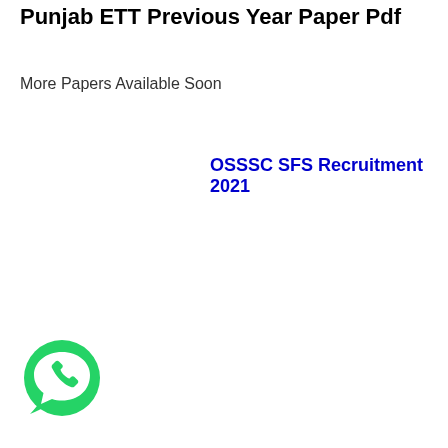Punjab ETT Previous Year Paper Pdf
More Papers Available Soon
OSSSC SFS Recruitment 2021
[Figure (logo): WhatsApp logo button — green circle with white phone/speech bubble icon]